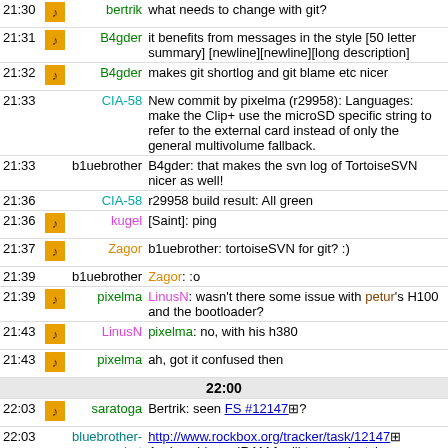| time | icon | nick | message |
| --- | --- | --- | --- |
| 21:30 | [icon] | bertrik | what needs to change with git? |
| 21:31 | [icon] | B4gder | it benefits from messages in the style [50 letter summary][newline][newline][long description] |
| 21:32 | [icon] | B4gder | makes git shortlog and git blame etc nicer |
| 21:33 |  | CIA-58 | New commit by pixelma (r29958): Languages: make the Clip+ use the microSD specific string to refer to the external card instead of only the general multivolume fallback. |
| 21:33 |  | b1uebrother | B4gder: that makes the svn log of TortoiseSVN nicer as well! |
| 21:36 |  | CIA-58 | r29958 build result: All green |
| 21:36 | [icon] | kugel | [Saint]: ping |
| 21:37 | [icon] | Zagor | b1uebrother: tortoiseSVN for git? :) |
| 21:39 |  | b1uebrother | Zagor: :o |
| 21:39 | [icon] | pixelma | LinusN: wasn't there some issue with petur's H100 and the bootloader? |
| 21:43 | [icon] | LinusN | pixelma: no, with his h380 |
| 21:43 | [icon] | pixelma | ah, got it confused then |
| 22:00 |  |  | 22:00 |
| 22:03 | [icon] | saratoga | Bertrik: seen FS #12147 ? |
| 22:03 |  | bluebrother-bot | http://www.rockbox.org/tracker/task/12147  Assigns bigger IRAM for libtremor (patches, unconfirmed) |
| 22:04 | [icon] | saratoga | i'm confused why he sees a speed up, as I recall the Clip+ runs all codecs from IRAM |
| 22:04 | [icon] | bertrik | saratoga, I'm not so familiar with the memory layout on AMS and AMSv2 anymore |
| 22:07 | [icon] | saratoga | bertrik: yeah I just checked, the entire codec is in IRAM |